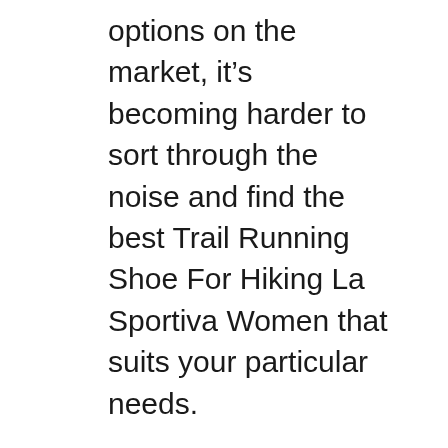options on the market, it's becoming harder to sort through the noise and find the best Trail Running Shoe For Hiking La Sportiva Women that suits your particular needs.
That's why we're here to assist you in picking the best Trail Running Shoe For Hiking La Sportiva Women . We have gone through the difficult process of evaluating every product in detail to find the best one. Whether you're buying for the first time or looking for an